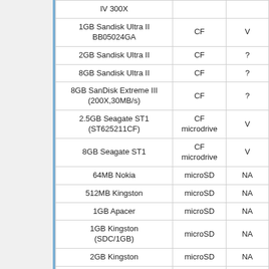| Card | Type | Status |
| --- | --- | --- |
| IV 300X |  |  |
| 1GB Sandisk Ultra II BB05024GA | CF | V |
| 2GB Sandisk Ultra II | CF | ? |
| 8GB Sandisk Ultra II | CF | ? |
| 8GB SanDisk Extreme III (200X,30MB/s) | CF | ? |
| 2.5GB Seagate ST1 (ST625211CF) | CF microdrive | V |
| 8GB Seagate ST1 | CF microdrive | V |
| 64MB Nokia | microSD | NA |
| 512MB Kingston | microSD | NA |
| 1GB Apacer | microSD | NA |
| 1GB Kingston (SDC/1GB) | microSD | NA |
| 2GB Kingston | microSD | NA |
| 2GB Traxdata | microSD | NA |
| 4GB Apacer SDHC (class 6) | microSD | NA |